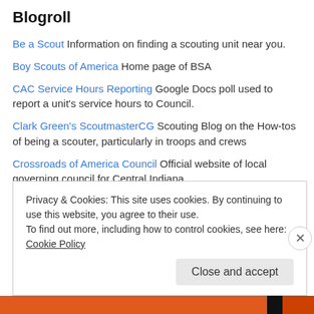Blogroll
Be a Scout Information on finding a scouting unit near you.
Boy Scouts of America Home page of BSA
CAC Service Hours Reporting Google Docs poll used to report a unit's service hours to Council.
Clark Green's ScoutmasterCG Scouting Blog on the How-tos of being a scouter, particularly in troops and crews
Crossroads of America Council Official website of local governing council for Central Indiana
Firecrafter Honorary society of the Crossroads of America Council.
Jaccos Towne Lodge of OA CAC's Lodge of Order of the Arrow scouting honorary society
Lowaneu Allanque Chapter of OA North Star's and sister district's
Privacy & Cookies: This site uses cookies. By continuing to use this website, you agree to their use. To find out more, including how to control cookies, see here: Cookie Policy